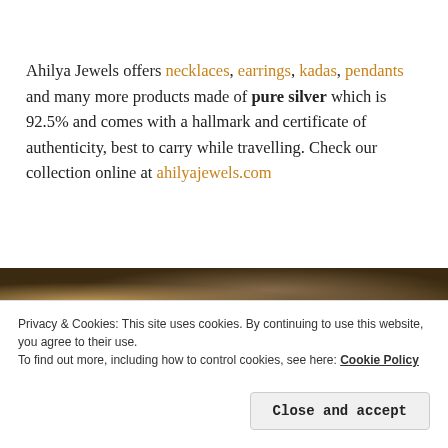Ahilya Jewels offers necklaces, earrings, kadas, pendants and many more products made of pure silver which is 92.5% and comes with a hallmark and certificate of authenticity, best to carry while travelling. Check our collection online at ahilyajewels.com
[Figure (photo): Partial photograph of jewelry items, blurred dark background with warm tones, partially obscured by cookie banner overlay]
Privacy & Cookies: This site uses cookies. By continuing to use this website, you agree to their use.
To find out more, including how to control cookies, see here: Cookie Policy
Close and accept